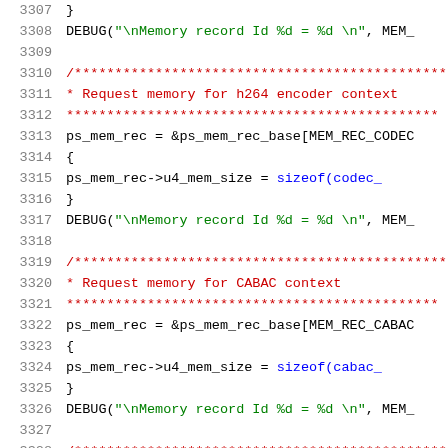Code listing lines 3307-3328, C source code for memory record management
3307    }
3308    DEBUG("\nMemory record Id %d = %d \n", MEM_
3309
3310    /***********************************************
3311     * Request memory for h264 encoder context
3312     **********************************************
3313    ps_mem_rec = &ps_mem_rec_base[MEM_REC_CODEC
3314    {
3315        ps_mem_rec->u4_mem_size = sizeof(codec_
3316    }
3317    DEBUG("\nMemory record Id %d = %d \n", MEM_
3318
3319    /***********************************************
3320     * Request memory for CABAC context
3321     **********************************************
3322    ps_mem_rec = &ps_mem_rec_base[MEM_REC_CABAC
3323    {
3324        ps_mem_rec->u4_mem_size = sizeof(cabac_
3325    }
3326    DEBUG("\nMemory record Id %d = %d \n", MEM_
3327
3328    /***********************************************